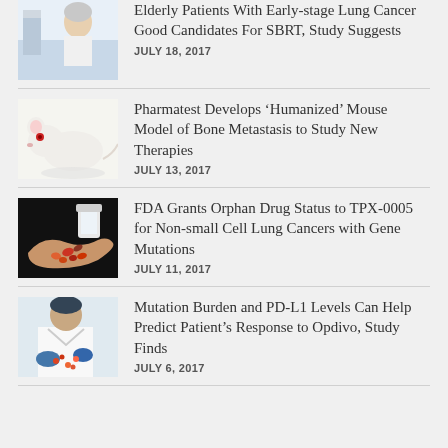[Figure (photo): Elderly patient in hospital gown, partial view at top of page]
Elderly Patients With Early-stage Lung Cancer Good Candidates For SBRT, Study Suggests
JULY 18, 2017
[Figure (photo): White laboratory mouse close-up]
Pharmatest Develops 'Humanized' Mouse Model of Bone Metastasis to Study New Therapies
JULY 13, 2017
[Figure (photo): Hands holding colorful pills/capsules being poured from a bottle]
FDA Grants Orphan Drug Status to TPX-0005 for Non-small Cell Lung Cancers with Gene Mutations
JULY 11, 2017
[Figure (photo): Person in lab coat and gloves handling medication]
Mutation Burden and PD-L1 Levels Can Help Predict Patient’s Response to Opdivo, Study Finds
JULY 6, 2017